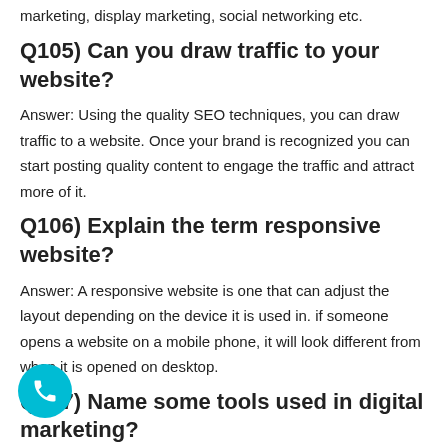marketing, display marketing, social networking etc.
Q105) Can you draw traffic to your website?
Answer: Using the quality SEO techniques, you can draw traffic to a website. Once your brand is recognized you can start posting quality content to engage the traffic and attract more of it.
Q106) Explain the term responsive website?
Answer: A responsive website is one that can adjust the layout depending on the device it is used in. if someone opens a website on a mobile phone, it will look different from when it is opened on desktop.
Q107) Name some tools used in digital marketing?
Answer: